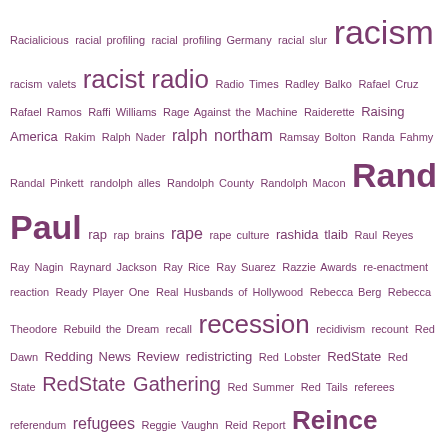Racialicious racial profiling racial profiling Germany racial slur racism racism valets racist radio Radio Times Radley Balko Rafael Cruz Rafael Ramos Raffi Williams Rage Against the Machine Raiderette Raising America Rakim Ralph Nader ralph northam Ramsay Bolton Randa Fahmy Randal Pinkett randolph alles Randolph County Randolph Macon Rand Paul rap rap brains rape rape culture rashida tlaib Raul Reyes Ray Nagin Raynard Jackson Ray Rice Ray Suarez Razzie Awards re-enactment reaction Ready Player One Real Husbands of Hollywood Rebecca Berg Rebecca Theodore Rebuild the Dream recall recession recidivism recount Red Dawn Redding News Review redistricting Red Lobster RedState Red State RedState Gathering Red Summer Red Tails referees referendum refugees Reggie Vaughn Reid Report Reince Priebus religion religious freedom Religious Freedom Restoration Act religious police remix Renee Montagne Renee Zellweger Renisha McBride rental properties Rentboy REN TV reparations repeal repeal and replace replacement refs Republican Republican National Committee Republican National Convention Republican Party republicans Republican Zone Reservation resigns